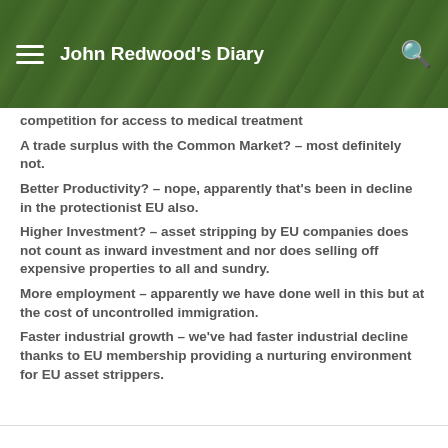John Redwood's Diary
competition for access to medical treatment
A trade surplus with the Common Market? – most definitely not.
Better Productivity? – nope, apparently that's been in decline in the protectionist EU also.
Higher Investment? – asset stripping by EU companies does not count as inward investment and nor does selling off expensive properties to all and sundry.
More employment – apparently we have done well in this but at the cost of uncontrolled immigration.
Faster industrial growth – we've had faster industrial decline thanks to EU membership providing a nurturing environment for EU asset strippers.